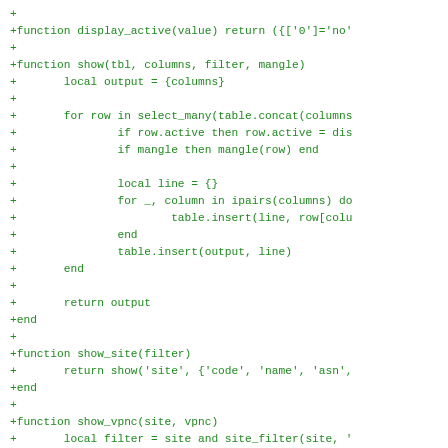[Figure (other): Code diff snippet showing Lua functions: display_active, show, show_site, show_vpnc with green diff markers (+) on white background]